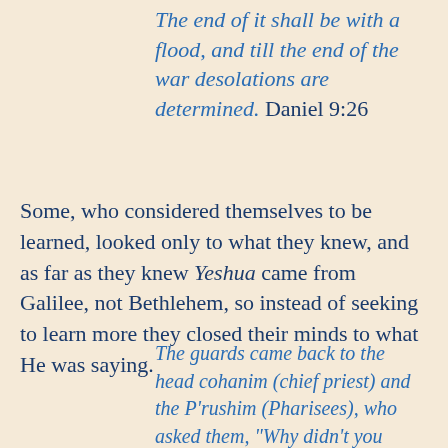The end of it shall be with a flood, and till the end of the war desolations are determined. Daniel 9:26
Some, who considered themselves to be learned, looked only to what they knew, and as far as they knew Yeshua came from Galilee, not Bethlehem, so instead of seeking to learn more they closed their minds to what He was saying.
The guards came back to the head cohanim (chief priest) and the P'rushim (Pharisees), who asked them, "Why didn't you bring him in?"